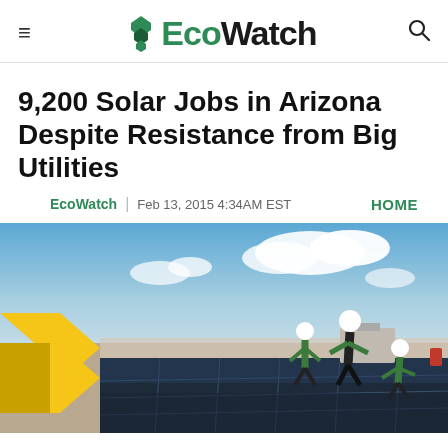EcoWatch
9,200 Solar Jobs in Arizona Despite Resistance from Big Utilities
EcoWatch | Feb 13, 2015 4:34AM EST   HOME
[Figure (photo): Three workers in high-visibility vests and hard hats working on solar panels on a rooftop, with yellow chevron/arrow graphic on the left side and a blue sky with clouds in the background]